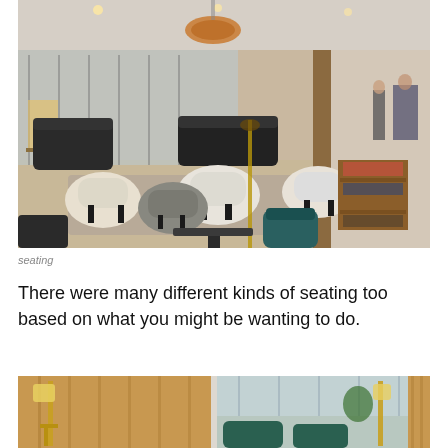[Figure (photo): Interior of an airport lounge showing modern seating area with white and grey upholstered chairs, dark sofas, a wooden display shelf with magazines, large floor-to-ceiling windows, hanging rattan pendant light, and people walking in the background.]
seating
There were many different kinds of seating too based on what you might be wanting to do.
[Figure (photo): Partially visible interior of a lounge showing wooden furniture, floor lamps with brass/gold stems, large windows with natural light, and teal/green upholstered seating.]